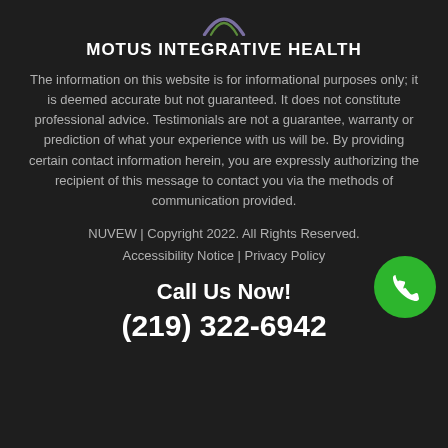[Figure (logo): Motus Integrative Health logo arc/swoosh at top]
MOTUS INTEGRATIVE HEALTH
The information on this website is for informational purposes only; it is deemed accurate but not guaranteed. It does not constitute professional advice. Testimonials are not a guarantee, warranty or prediction of what your experience with us will be. By providing certain contact information herein, you are expressly authorizing the recipient of this message to contact you via the methods of communication provided.
NUVEW | Copyright 2022. All Rights Reserved. Accessibility Notice | Privacy Policy
Call Us Now!
(219) 322-6942
[Figure (illustration): Green circular phone call button with phone icon]